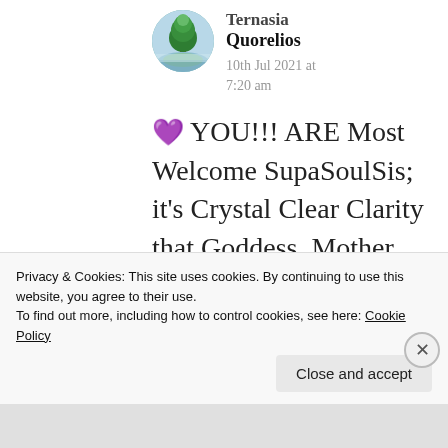[Figure (photo): Circular avatar image of a tree on an island with misty water/sky background]
Ternasia
Quorelios
10th Jul 2021 at 7:20 am
💜 YOU!!! ARE Most Welcome SupaSoulSis; it's Crystal Clear Clarity that Goddess, Mother Nature, has Awoken from a Lengthy Slumber and is NOW!!! S...
Privacy & Cookies: This site uses cookies. By continuing to use this website, you agree to their use.
To find out more, including how to control cookies, see here: Cookie Policy
Close and accept